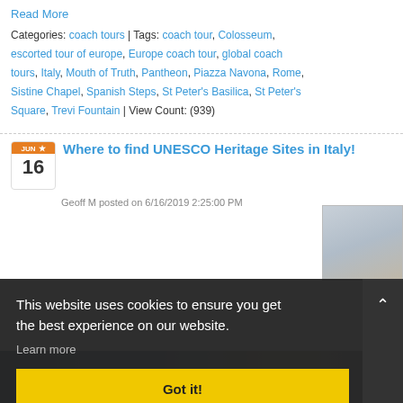Read More
Categories: coach tours | Tags: coach tour, Colosseum, escorted tour of europe, Europe coach tour, global coach tours, Italy, Mouth of Truth, Pantheon, Piazza Navona, Rome, Sistine Chapel, Spanish Steps, St Peter's Basilica, St Peter's Square, Trevi Fountain | View Count: (939)
Where to find UNESCO Heritage Sites in Italy!
Geoff M posted on 6/16/2019 2:25:00 PM
This website uses cookies to ensure you get the best experience on our website. Learn more
Got it!